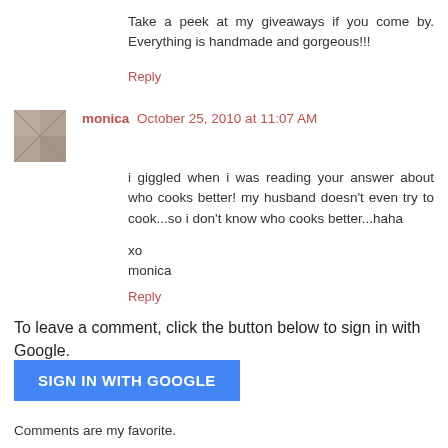Take a peek at my giveaways if you come by. Everything is handmade and gorgeous!!!
Reply
monica  October 25, 2010 at 11:07 AM
i giggled when i was reading your answer about who cooks better! my husband doesn't even try to cook...so i don't know who cooks better...haha

xo
monica
Reply
To leave a comment, click the button below to sign in with Google.
[Figure (other): Blue 'SIGN IN WITH GOOGLE' button]
Comments are my favorite.